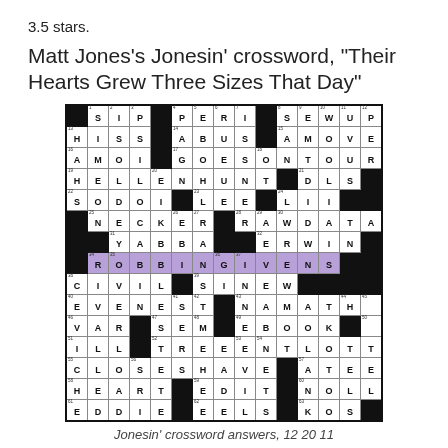3.5 stars.
Matt Jones’s Jonesin’ crossword, “Their Hearts Grew Three Sizes That Day”
[Figure (other): Filled crossword grid for Jonesin crossword titled Their Hearts Grew Three Sizes That Day, 12 20 11. Grid is approximately 13x13 with answers including ROBBINGIVENS highlighted in purple across the middle row.]
Jonesin’ crossword answers, 12 20 11
The title cops a line from Dr. Seuss’s Grinch tale, which